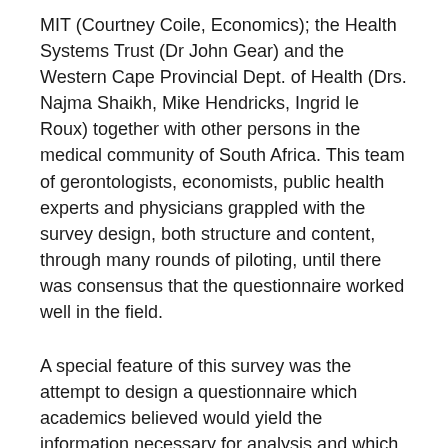MIT (Courtney Coile, Economics); the Health Systems Trust (Dr John Gear) and the Western Cape Provincial Dept. of Health (Drs. Najma Shaikh, Mike Hendricks, Ingrid le Roux) together with other persons in the medical community of South Africa. This team of gerontologists, economists, public health experts and physicians grappled with the survey design, both structure and content, through many rounds of piloting, until there was consensus that the questionnaire worked well in the field.
A special feature of this survey was the attempt to design a questionnaire which academics believed would yield the information necessary for analysis and which those working directly with health policy at different levels of government believed would be useful for their needs. To this end the support of the Western Cape Provincial Department of Health both in participating in the debate about the questionnaire and in facilitating the